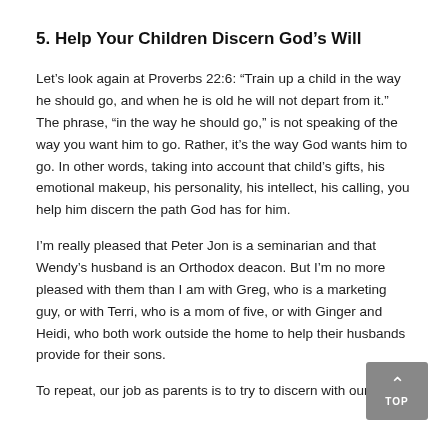5. Help Your Children Discern God's Will
Let's look again at Proverbs 22:6: “Train up a child in the way he should go, and when he is old he will not depart from it.” The phrase, “in the way he should go,” is not speaking of the way you want him to go. Rather, it’s the way God wants him to go. In other words, taking into account that child’s gifts, his emotional makeup, his personality, his intellect, his calling, you help him discern the path God has for him.
I’m really pleased that Peter Jon is a seminarian and that Wendy’s husband is an Orthodox deacon. But I’m no more pleased with them than I am with Greg, who is a marketing guy, or with Terri, who is a mom of five, or with Ginger and Heidi, who both work outside the home to help their husbands provide for their sons.
To repeat, our job as parents is to try to discern with our